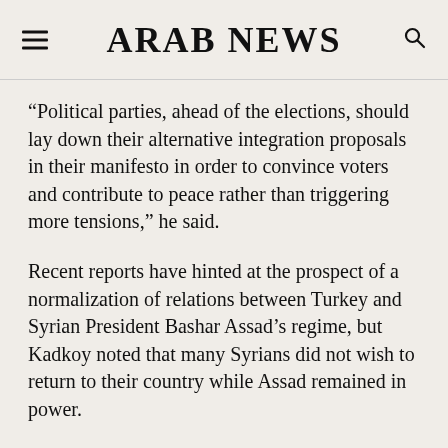ARAB NEWS
“Political parties, ahead of the elections, should lay down their alternative integration proposals in their manifesto in order to convince voters and contribute to peace rather than triggering more tensions,” he said.
Recent reports have hinted at the prospect of a normalization of relations between Turkey and Syrian President Bashar Assad’s regime, but Kadkoy noted that many Syrians did not wish to return to their country while Assad remained in power.
“If Turkey goes down the path of rapprochement with…